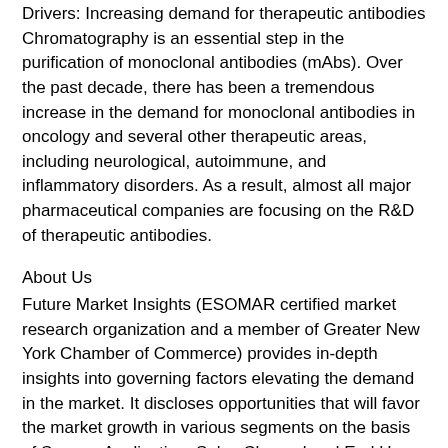Drivers: Increasing demand for therapeutic antibodies Chromatography is an essential step in the purification of monoclonal antibodies (mAbs). Over the past decade, there has been a tremendous increase in the demand for monoclonal antibodies in oncology and several other therapeutic areas, including neurological, autoimmune, and inflammatory disorders. As a result, almost all major pharmaceutical companies are focusing on the R&D of therapeutic antibodies.
About Us
Future Market Insights (ESOMAR certified market research organization and a member of Greater New York Chamber of Commerce) provides in-depth insights into governing factors elevating the demand in the market. It discloses opportunities that will favor the market growth in various segments on the basis of Source, Application, Sales Channel and End Use over the next 10-years.